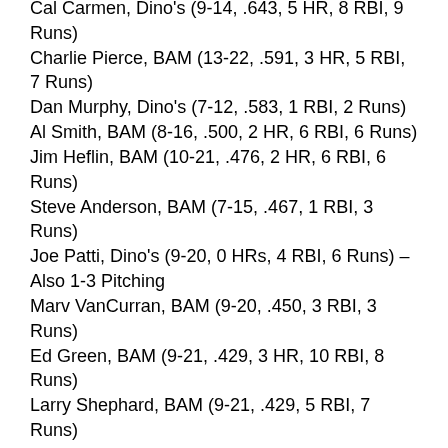Cal Carmen, Dino's (9-14, .643, 5 HR, 8 RBI, 9 Runs)
Charlie Pierce, BAM (13-22, .591, 3 HR, 5 RBI, 7 Runs)
Dan Murphy, Dino's (7-12, .583, 1 RBI, 2 Runs)
Al Smith, BAM (8-16, .500, 2 HR, 6 RBI, 6 Runs)
Jim Heflin, BAM (10-21, .476, 2 HR, 6 RBI, 6 Runs)
Steve Anderson, BAM (7-15, .467, 1 RBI, 3 Runs)
Joe Patti, Dino's (9-20, 0 HRs, 4 RBI, 6 Runs) – Also 1-3 Pitching
Marv VanCurran, BAM (9-20, .450, 3 RBI, 3 Runs)
Ed Green, BAM (9-21, .429, 3 HR, 10 RBI, 8 Runs)
Larry Shephard, BAM (9-21, .429, 5 RBI, 7 Runs)
Unknown Klinger, Dino's (8-19, .421, 2 Runs)
Jerry Gilbreath, BAM (5-12, .417, 1 HR, 4 RBI, 5 Runs)
Chuck Carcium, Dino's (5-13, .365, 1 HR, 9 RBI, 7 Runs) – Also 1-1 Pitching
Frank Coppa, BAM (7-19, .368, 4 RBI, 4 Runs)
Mike Matthews, BAM (7-21, .333, 2 HR, 7 RBI, 6 Runs) – Also 4-2 Pitching
Ace Flatiron, Dino's (9-10, .310, 2 HR, 4 RBI, 3 Runs)